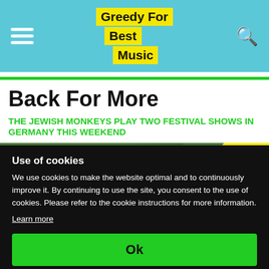Greedy For Best Music
Back For More
THE JEWISH MONKEYS PLAY TWO FESTIVAL SHOWS IN GERMANY THIS WEEKEND
[Figure (photo): Partial image of green foliage with a yellow banner reading 'Greedy']
Use of cookies
We use cookies to make the website optimal and to continuously improve it. By continuing to use the site, you consent to the use of cookies. Please refer to the cookie instructions for more information.
Learn more
Ok